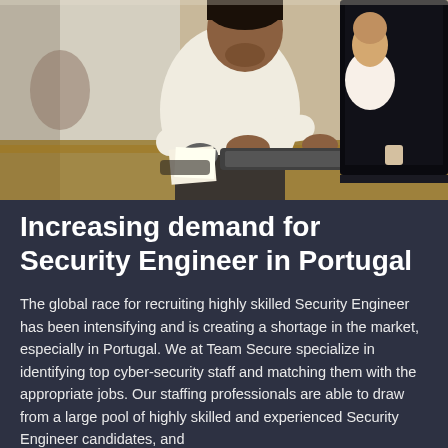[Figure (photo): A man in a white dress shirt sitting at a desk working on a computer keyboard, with other office workers visible in the background in a modern office environment.]
Increasing demand for Security Engineer in Portugal
The global race for recruiting highly skilled Security Engineer has been intensifying and is creating a shortage in the market, especially in Portugal. We at Team Secure specialize in identifying top cyber-security staff and matching them with the appropriate jobs. Our staffing professionals are able to draw from a large pool of highly skilled and experienced Security Engineer candidates, and